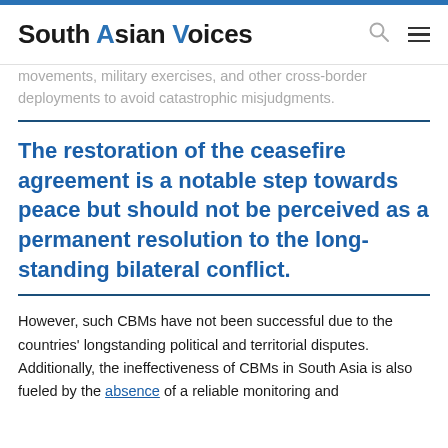South Asian Voices
movements, military exercises, and other cross-border deployments to avoid catastrophic misjudgments.
The restoration of the ceasefire agreement is a notable step towards peace but should not be perceived as a permanent resolution to the long-standing bilateral conflict.
However, such CBMs have not been successful due to the countries' longstanding political and territorial disputes. Additionally, the ineffectiveness of CBMs in South Asia is also fueled by the absence of a reliable monitoring and